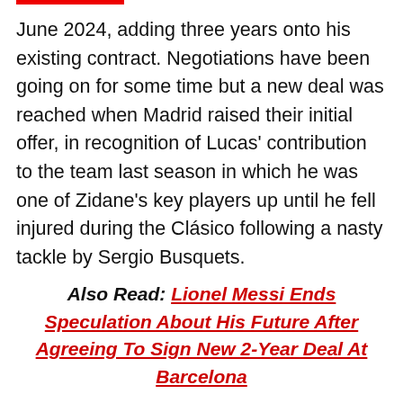June 2024, adding three years onto his existing contract. Negotiations have been going on for some time but a new deal was reached when Madrid raised their initial offer, in recognition of Lucas' contribution to the team last season in which he was one of Zidane's key players up until he fell injured during the Clásico following a nasty tackle by Sergio Busquets.
Also Read: Lionel Messi Ends Speculation About His Future After Agreeing To Sign New 2-Year Deal At Barcelona
There were a few tense moments during the talks between the player's agents and the club. Madrid originally offered a three-year extension with the same wages – three million euros net per season, which would be subject to a 10% reduction – a pay cut which Madrid have requested from all of the players who have been offered new deals,